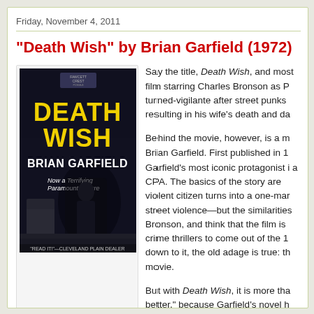Friday, November 4, 2011
"Death Wish" by Brian Garfield (1972)
[Figure (photo): Book cover of 'Death Wish' by Brian Garfield. Dark cover with yellow text reading 'DEATH WISH' and 'BRIAN GARFIELD'. Tagline: 'Now a Terrifying Paramount Picture'. Quote at bottom: '"READ IT!"—CLEVELAND PLAIN DEALER'. FAWCETT CREST publisher logo at top.]
Say the title, Death Wish, and most film starring Charles Bronson as P turned-vigilante after street punks resulting in his wife's death and da
Behind the movie, however, is a m Brian Garfield. First published in 1 Garfield's most iconic protagonist i a CPA. The basics of the story are violent citizen turns into a one-mar street violence—but the similarities Bronson, and think that the film is crime thrillers to come out of the 1 down to it, the old adage is true: th movie.
But with Death Wish, it is more tha better," because Garfield's novel h and more complex, goals than the